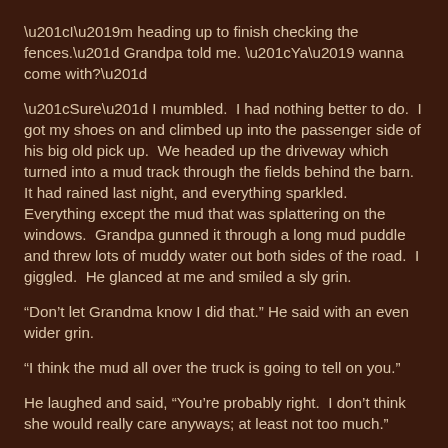“I’m heading up to finish checking the fences.” Grandpa told me. “Ya’ wanna come with?”
“Sure” I mumbled.  I had nothing better to do.  I got my shoes on and climbed up into the passenger side of his big old pick up.  We headed up the driveway which turned into a mud track through the fields behind the barn.  It had rained last night, and everything sparkled.  Everything except the mud that was splattering on the windows.  Grandpa gunned it through a long mud puddle and threw lots of muddy water out both sides of the road.  I giggled.  He glanced at me and smiled a sly grin.
“Don’t let Grandma know I did that.” He said with an even wider grin.
“I think the mud all over the truck is going to tell on you.”
He laughed and said, “You’re probably right.  I don’t think she would really care anyways; at least not too much.”